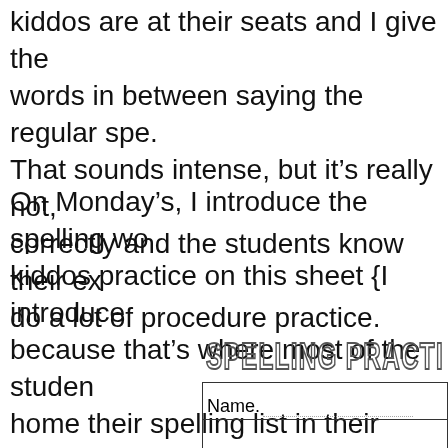kiddos are at their seats and I give the words in between saying the regular spe. That sounds intense, but it's really not, correctly and the students know their ex do a lot of procedure practice.
On Monday's, I introduce the spelling wo kiddos practice on this sheet {I introduce because that's where most of the studen home their spelling list in their homewor They HAVE to practice at home too! When I Monday, I find that is helps them with th practice on a sheet that looks like the sp
[Figure (other): Decorative outlined block-letter text reading SPELLING PRACTIC (partially cut off)]
| Name. |  |
|  |  |